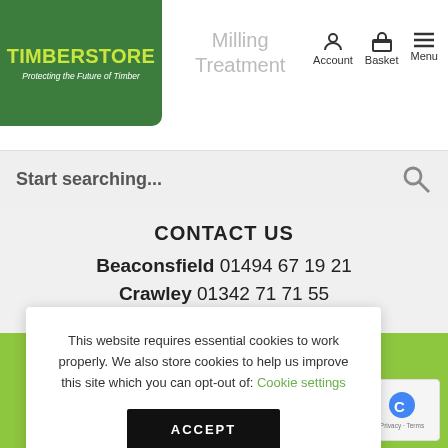[Figure (logo): Timberstore logo on green background — 'TIMBERSTORE' in yellow, 'Protecting the Future of Timber' in white italic below]
Milling Treatment  Account  Basket  Menu
Start searching...
CONTACT US
Beaconsfield 01494 67 19 21
Crawley 01342 71 71 55
This website requires essential cookies to work properly. We also store cookies to help us improve this site which you can opt-out of: Cookie settings
ACCEPT
ield HP9 2RX
no. 200 2787 47
[Figure (logo): Google reCAPTCHA badge with blue C logo, 'Privacy · Terms' text]